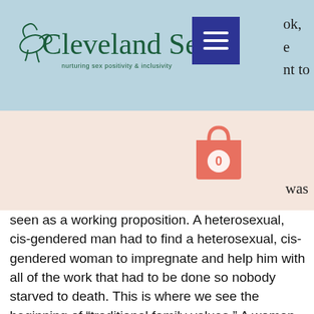[Figure (logo): Cleveland Sex Therapy logo with bird icon and script text, tagline 'nurturing sex positivity & inclusivity', on teal/blue header background]
[Figure (screenshot): Hamburger menu button (three white lines on dark blue/indigo square background), partially obscured top-right text reading 'ok,' and continuation lines]
[Figure (illustration): Pink/coral shopping bag icon with white '0' label, on peach background, with partial 'was' text to the right]
was seen as a working proposition. A heterosexual, cis-gendered man had to find a heterosexual, cis-gendered woman to impregnate and help him with all of the work that had to be done so nobody starved to death. This is where we see the beginning of “traditional family values.” A woman needed a man to provide for her and thus in return, she would provide for him by giving him children and helping with the needs of the family. It makes sense when you think about it. Marriage and monogamy